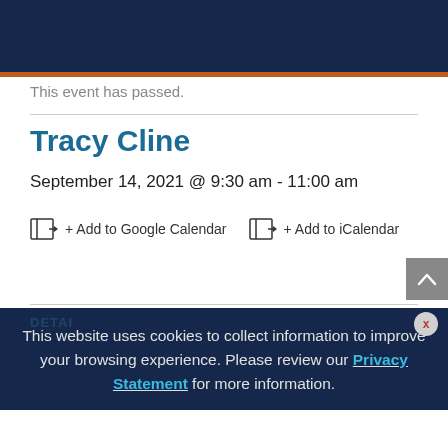This event has passed.
Tracy Cline
September 14, 2021 @ 9:30 am - 11:00 am
+ Add to Google Calendar  + Add to iCalendar
This website uses cookies to collect information to improve your browsing experience. Please review our Privacy Statement for more information.